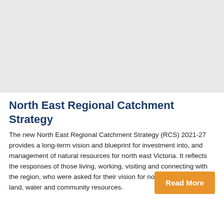[Figure (photo): Light gray placeholder image area at top of page]
North East Regional Catchment Strategy
The new North East Regional Catchment Strategy (RCS) 2021-27 provides a long-term vision and blueprint for investment into, and management of natural resources for north east Victoria. It reflects the responses of those living, working, visiting and connecting with the region, who were asked for their vision for north east Victoria's land, water and community resources.
Read More